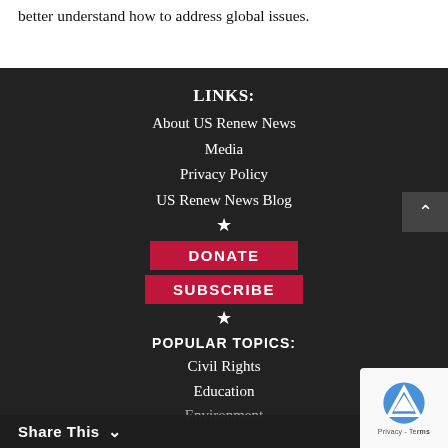better understand how to address global issues.
LINKS:
About US Renew News
Media
Privacy Policy
US Renew News Blog
★
DONATE
SUBSCRIBE
★
POPULAR TOPICS:
Civil Rights
Education
Environment
Share This ∨